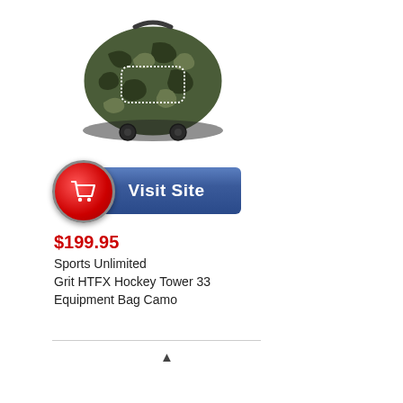[Figure (photo): Product photo of a camouflage hockey equipment bag (Grit HTFX Hockey Tower 33 Equipment Bag in Camo pattern), shown from the side on white background]
[Figure (other): Visit Site button with red shopping cart circle icon on the left and blue rectangular button with white text 'Visit Site']
$199.95
Sports Unlimited Grit HTFX Hockey Tower 33 Equipment Bag Camo